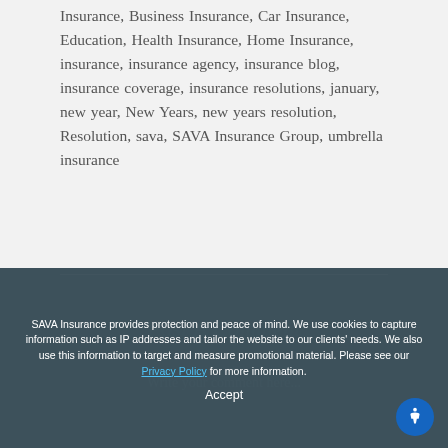Insurance, Business Insurance, Car Insurance, Education, Health Insurance, Home Insurance, insurance, insurance agency, insurance blog, insurance coverage, insurance resolutions, january, new year, New Years, new years resolution, Resolution, sava, SAVA Insurance Group, umbrella insurance
Post A Comment
Write your comment here...
SAVA Insurance provides protection and peace of mind. We use cookies to capture information such as IP addresses and tailor the website to our clients' needs. We also use this information to target and measure promotional material. Please see our Privacy Policy for more information.
Accept